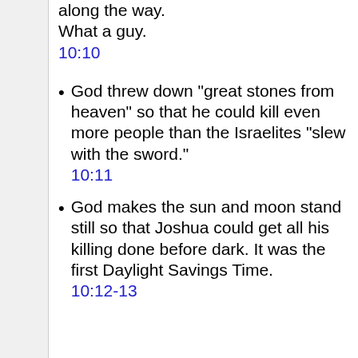along the way. What a guy. 10:10
God threw down "great stones from heaven" so that he could kill even more people than the Israelites "slew with the sword." 10:11
God makes the sun and moon stand still so that Joshua could get all his killing done before dark. It was the first Daylight Savings Time. 10:12-13